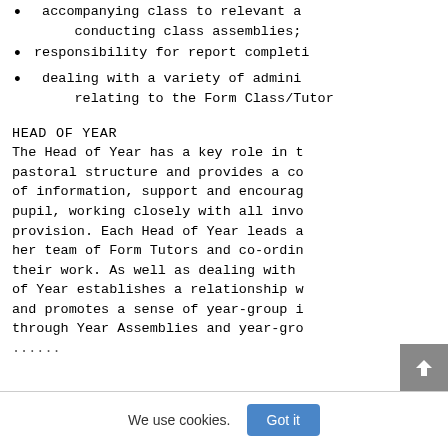accompanying class to relevant a conducting class assemblies;
responsibility for report completi
dealing with a variety of admini relating to the Form Class/Tutor
HEAD OF YEAR
The Head of Year has a key role in t pastoral structure and provides a co of information, support and encourag pupil, working closely with all invo provision. Each Head of Year leads a her team of Form Tutors and co-ordin their work. As well as dealing with of Year establishes a relationship w and promotes a sense of year-group i through Year Assemblies and year-gro